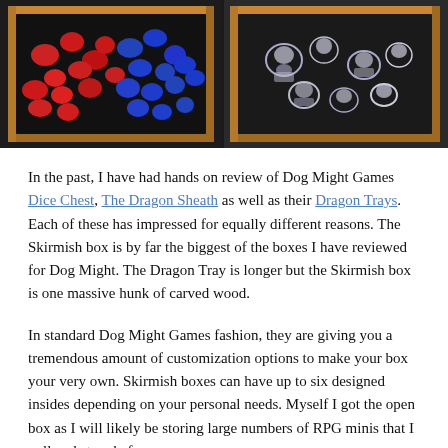[Figure (photo): Two side-by-side photos of wooden trays/boxes from Dog Might Games. Left photo shows a wooden tray with red and blue miniature figures/dice. Right photo shows a wooden tray with clear/metallic miniature figures.]
In the past, I have had hands on review of Dog Might Games Dice Chest, The Dragon Sheath as well as their Dragon Trays. Each of these has impressed for equally different reasons. The Skirmish box is by far the biggest of the boxes I have reviewed for Dog Might. The Dragon Tray is longer but the Skirmish box is one massive hunk of carved wood.
In standard Dog Might Games fashion, they are giving you a tremendous amount of customization options to make your box your very own. Skirmish boxes can have up to six designed insides depending on your personal needs. Myself I got the open box as I will likely be storing large numbers of RPG minis that I pull and store before my